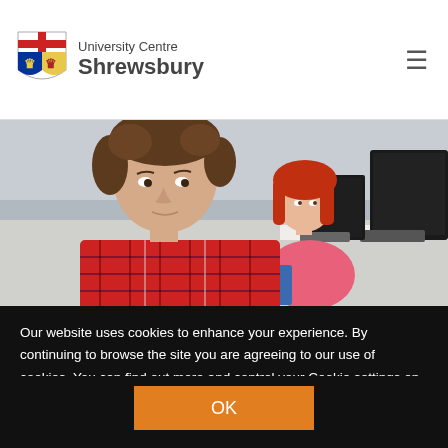University Centre Shrewsbury
[Figure (photo): Two students working at desktop computers in a computer lab. The student in the foreground is a young man wearing a red plaid shirt, focused on the screen. Behind him is a young woman with red hair wearing a pink top. Computer monitors and keyboards are visible on the desks.]
Our website uses cookies to enhance your experience. By continuing to browse the site you are agreeing to our use of cookies. You can find out more and control your Cookie settings on our Cookie Policy page.
OK